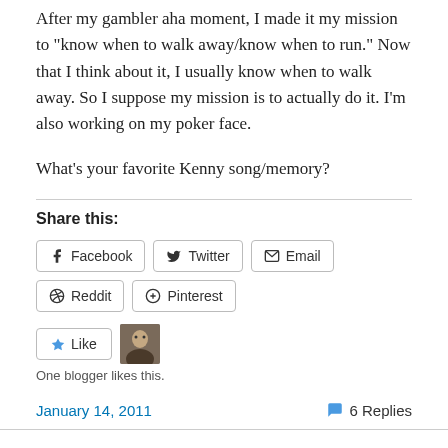After my gambler aha moment, I made it my mission to “know when to walk away/know when to run.” Now that I think about it, I usually know when to walk away. So I suppose my mission is to actually do it. I’m also working on my poker face.
What’s your favorite Kenny song/memory?
Share this:
Facebook  Twitter  Email  Reddit  Pinterest
Like
One blogger likes this.
January 14, 2011
6 Replies